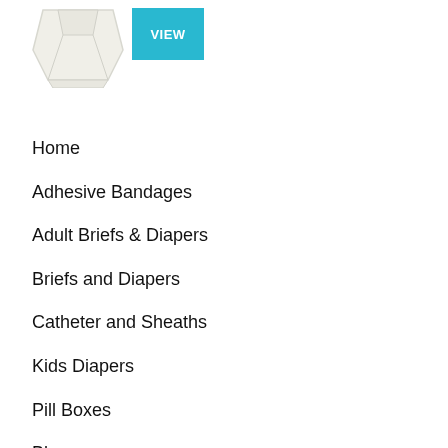[Figure (photo): Partial view of a white cloth diaper or brief product with a cyan/teal VIEW button overlay]
Home
Adhesive Bandages
Adult Briefs & Diapers
Briefs and Diapers
Catheter and Sheaths
Kids Diapers
Pill Boxes
Blog